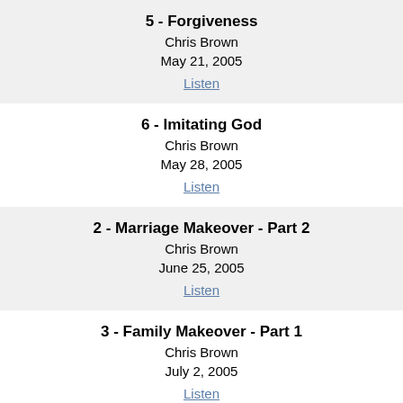5 - Forgiveness
Chris Brown
May 21, 2005
Listen
6 - Imitating God
Chris Brown
May 28, 2005
Listen
2 - Marriage Makeover - Part 2
Chris Brown
June 25, 2005
Listen
3 - Family Makeover - Part 1
Chris Brown
July 2, 2005
Listen
1 - The Jesus Most People Miss Part 1
Chris Brown